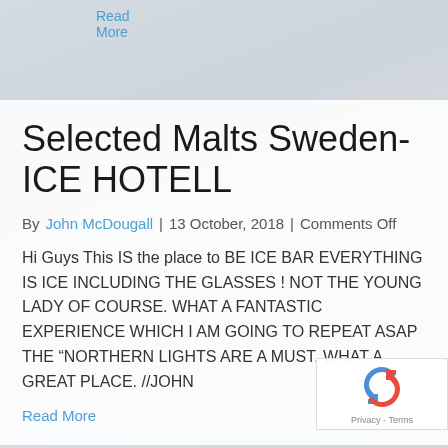Read More
Selected Malts Sweden-ICE HOTELL
By John McDougall | 13 October, 2018 | Comments Off
Hi Guys This IS the place to BE ICE BAR EVERYTHING IS ICE INCLUDING THE GLASSES ! NOT THE YOUNG LADY OF COURSE. WHAT A FANTASTIC EXPERIENCE WHICH I AM GOING TO REPEAT ASAP THE “NORTHERN LIGHTS ARE A MUST. WHAT A GREAT PLACE. //JOHN
Read More
[Figure (logo): reCAPTCHA badge with circular arrow icon and Privacy - Terms text]